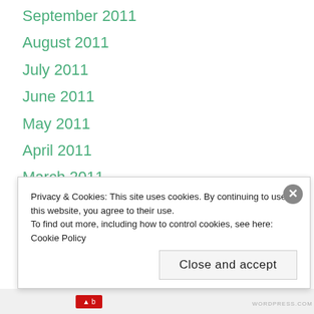September 2011
August 2011
July 2011
June 2011
May 2011
April 2011
March 2011
February 2011
January 2011
December 2010
November 2010
October 2010
September 2010
Privacy & Cookies: This site uses cookies. By continuing to use this website, you agree to their use. To find out more, including how to control cookies, see here: Cookie Policy
Close and accept